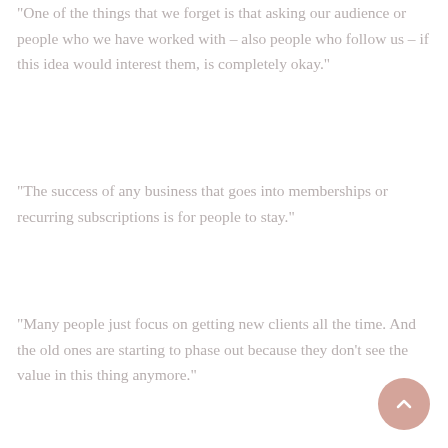“One of the things that we forget is that asking our audience or people who we have worked with – also people who follow us – if this idea would interest them, is completely okay.”
“The success of any business that goes into memberships or recurring subscriptions is for people to stay.”
“Many people just focus on getting new clients all the time. And the old ones are starting to phase out because they don’t see the value in this thing anymore.”